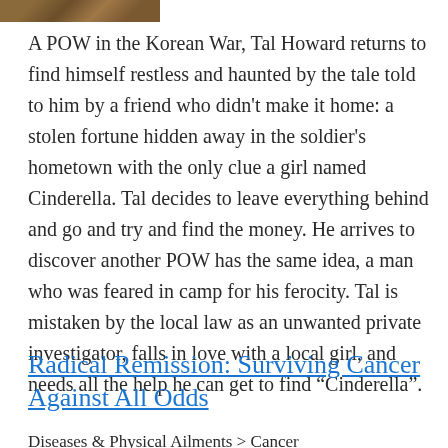[Figure (photo): Partial photo strip visible at top left of page, showing a cropped image with brown/earthy tones.]
A POW in the Korean War, Tal Howard returns to find himself restless and haunted by the tale told to him by a friend who didn't make it home: a stolen fortune hidden away in the soldier's hometown with the only clue a girl named Cinderella. Tal decides to leave everything behind and go and try and find the money. He arrives to discover another POW has the same idea, a man who was feared in camp for his ferocity. Tal is mistaken by the local law as an unwanted private investigator, falls in love with a local girl, and needs all the help he can get to find “Cinderella”.
Radical Remission: Surviving Cancer Against All Odds
Diseases & Physical Ailments > Cancer